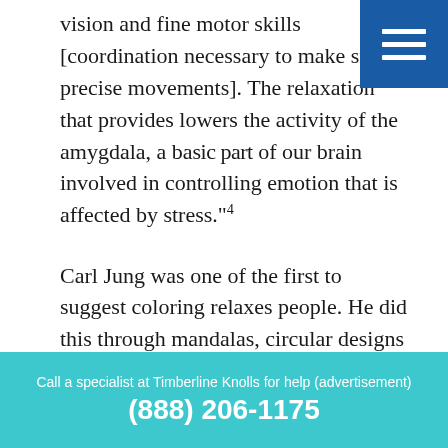vision and fine motor skills [coordination necessary to make small, precise movements]. The relaxation that provides lowers the activity of the amygdala, a basic part of our brain involved in controlling emotion that is affected by stress."4
Carl Jung was one of the first to suggest coloring relaxes people. He did this through mandalas, circular designs with concentric shapes similar to the Gothic churches' rose windows, the article reads. This is just one aspect of art therapy and its amazing power to get us out of our heads and closer to our hearts.
About the Author:
Call a specialist at Timberline Knolls for help (advertisement)
(888) 206-1175